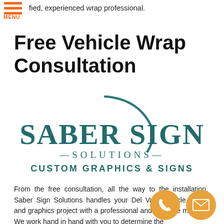fied, experienced wrap professional.
Free Vehicle Wrap Consultation
[Figure (logo): Saber Sign Solutions logo — teal/dark teal lettering with a decorative swoosh above, reading 'SABER SIGN' in large serif text, '—SOLUTIONS—' below, and 'CUSTOM GRAPHICS & SIGNS' at the bottom]
From the free consultation, all the way to the installation, Saber Sign Solutions handles your Del Valle vehicle wraps and graphics project with a professional and attentive manner. We work hand in hand with you to determine the